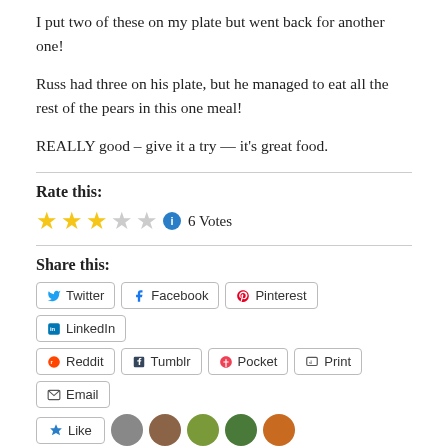I put two of these on my plate but went back for another one!
Russ had three on his plate, but he managed to eat all the rest of the pears in this one meal!
REALLY good – give it a try — it's great food.
Rate this:
[Figure (other): Star rating: 3 out of 5 stars filled (gold), 2 empty (gray), info icon, 6 Votes]
Share this:
Share buttons: Twitter, Facebook, Pinterest, LinkedIn, Reddit, Tumblr, Pocket, Print, Email
[Figure (other): Like button and user avatar thumbnails at bottom]